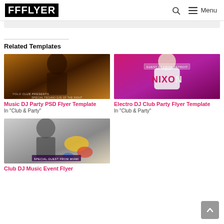FFFLYER  🔍  Menu
Related Templates
[Figure (photo): Music DJ Party PSD Flyer Template thumbnail — warm orange/brown tones with DJ figure]
Music DJ Party PSD Flyer Template
In "Club & Party"
[Figure (photo): Electro DJ Club Party Flyer Template thumbnail — pink/magenta tones with NIXON text]
Electro DJ Club Party Flyer Template
In "Club & Party"
[Figure (photo): Club DJ Music Event Flyer thumbnail — grayscale DJ with colorful paint splashes]
Club DJ Music Event Flyer